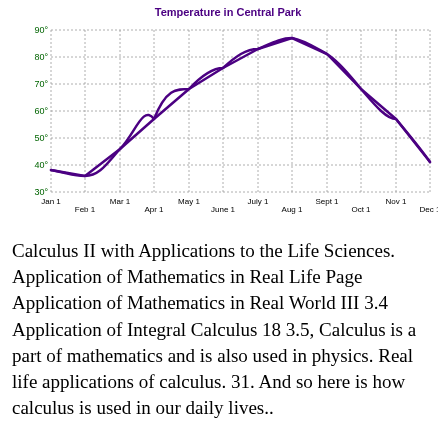[Figure (continuous-plot): Line chart showing temperature (°F) in Central Park across months Jan 1 through Dec 1. The curve starts around 38°F in January, dips to ~36°F in February, then rises through spring and summer to a peak of ~88°F around late July/Aug 1, then falls back to ~40°F by Dec 1. Y-axis: 30 to 90 in increments of 10. X-axis: Jan 1, Feb 1, Mar 1, Apr 1, May 1, June 1, July 1, Aug 1, Sept 1, Oct 1, Nov 1, Dec 1.]
Calculus II with Applications to the Life Sciences. Application of Mathematics in Real Life Page Application of Mathematics in Real World III 3.4 Application of Integral Calculus 18 3.5, Calculus is a part of mathematics and is also used in physics. Real life applications of calculus. 31. And so here is how calculus is used in our daily lives..